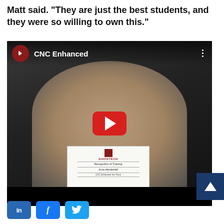Matt said. "They are just the best students, and they were so willing to own this."
[Figure (screenshot): YouTube video thumbnail showing a young woman holding a Davis Tech 'Recognition of Training' certificate in a CNC lab setting. The video title reads 'CNC Enhanced' with the Davis Tech logo.]